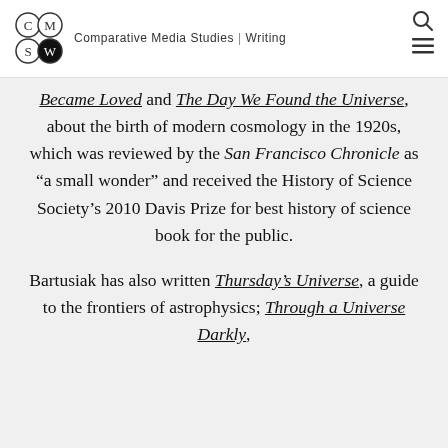Comparative Media Studies | Writing
Became Loved and The Day We Found the Universe, about the birth of modern cosmology in the 1920s, which was reviewed by the San Francisco Chronicle as “a small wonder” and received the History of Science Society’s 2010 Davis Prize for best history of science book for the public.

Bartusiak has also written Thursday’s Universe, a guide to the frontiers of astrophysics; Through a Universe Darkly,